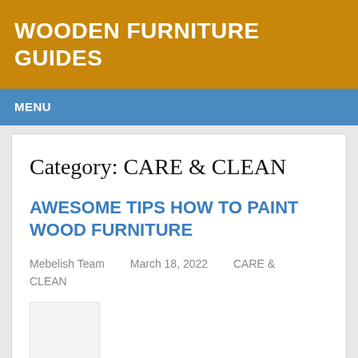WOODEN FURNITURE GUIDES
MENU
Category: CARE & CLEAN
AWESOME TIPS HOW TO PAINT WOOD FURNITURE
Mebelish Team   March 18, 2022   CARE & CLEAN